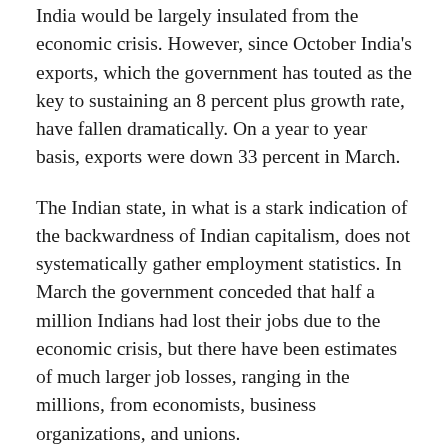… initially the government maintained that India would be largely insulated from the economic crisis. However, since October India's exports, which the government has touted as the key to sustaining an 8 percent plus growth rate, have fallen dramatically. On a year to year basis, exports were down 33 percent in March.
The Indian state, in what is a stark indication of the backwardness of Indian capitalism, does not systematically gather employment statistics. In March the government conceded that half a million Indians had lost their jobs due to the economic crisis, but there have been estimates of much larger job losses, ranging in the millions, from economists, business organizations, and unions.
Even before the world financial crisis erupted last September, ordinary Indians were being battered by a sharp rise in the cost of food and …